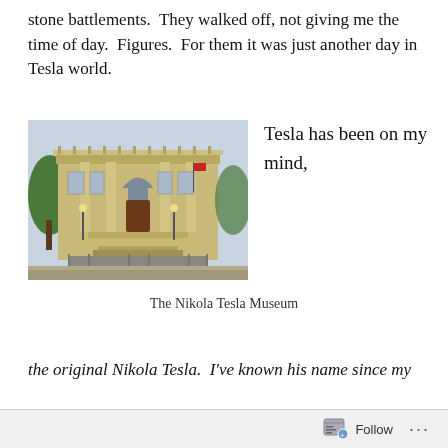stone battlements.  They walked off, not giving me the time of day.  Figures.  For them it was just another day in Tesla world.
Tesla has been on my mind,
[Figure (photo): Exterior photograph of the Nikola Tesla Museum, a neoclassical building with columns, arched windows, and a grand entrance staircase.]
The Nikola Tesla Museum
the original Nikola Tesla.  I've known his name since my
Follow